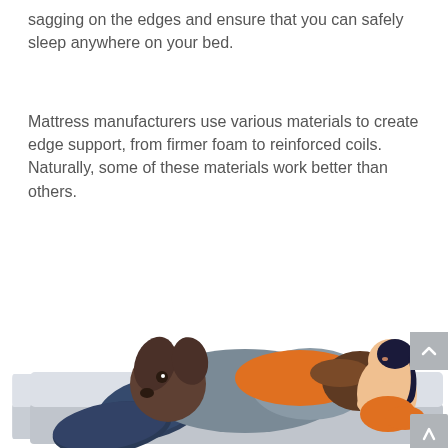sagging on the edges and ensure that you can safely sleep anywhere on your bed.
Mattress manufacturers use various materials to create edge support, from firmer foam to reinforced coils. Naturally, some of these materials work better than others.
[Figure (illustration): Illustration of two people lying on a mattress with pillows, demonstrating mattress edge support. One person (dark-skinned, wearing orange) is lying face-down in the center, and another person (light-skinned, wearing orange) is sitting/resting at the edge of the mattress. A large dog with grey fur is also visible on the bed. Two dark blue pillows are on the mattress surface.]